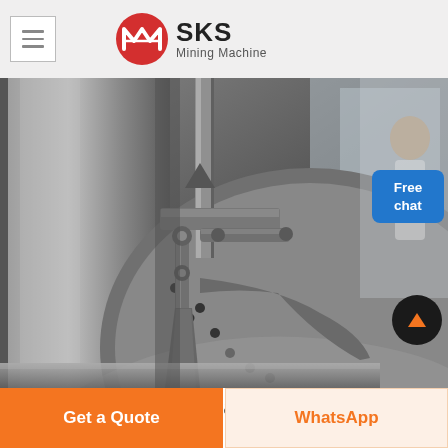[Figure (logo): SKS Mining Machine logo with red circular emblem and text]
[Figure (photo): Close-up photograph of coal-fired power plant wear parts - columnar steel mill machinery, showing large grey metal components with bolts and mechanical linkages]
Coal-fired Power Plant Wear Parts - Colu Steel
Get a Quote
WhatsApp